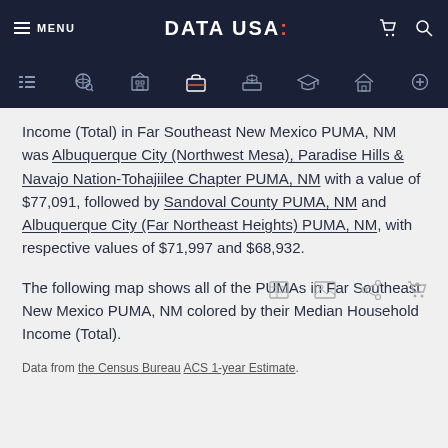MENU | DATA USA: | [cart] [search]
Income (Total) in Far Southeast New Mexico PUMA, NM was Albuquerque City (Northwest Mesa), Paradise Hills & Navajo Nation-Tohajiilee Chapter PUMA, NM with a value of $77,091, followed by Sandoval County PUMA, NM and Albuquerque City (Far Northeast Heights) PUMA, NM, with respective values of $71,997 and $68,932.
The following map shows all of the PUMAs in Far Southeast New Mexico PUMA, NM colored by their Median Household Income (Total).
Data from the Census Bureau ACS 1-year Estimate.